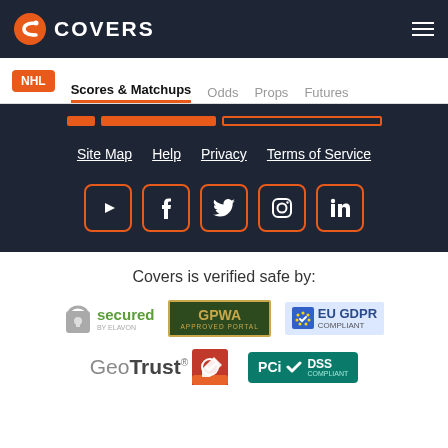COVERS
NHL | Scores & Matchups | Odds | Props | Futures
[Figure (screenshot): Orange tab selector strip with orange highlighted tab and outline box]
Site Map  Help  Privacy  Terms of Service
[Figure (infographic): Social media icons: YouTube, Facebook, Twitter, Instagram, LinkedIn in orange bordered boxes]
Covers is verified safe by:
[Figure (logo): Secured by Elavon badge, GPWA Approved Portal badge, EU GDPR Compliant badge, GeoTrust logo, PCI DSS Compliant badge]